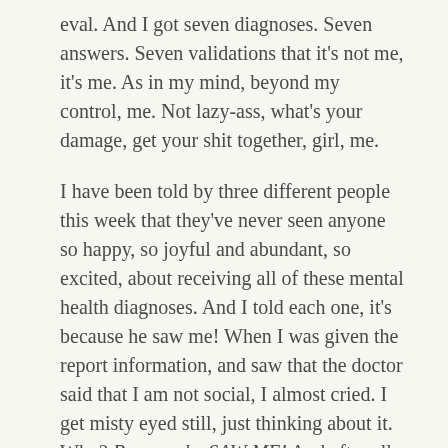eval. And I got seven diagnoses. Seven answers. Seven validations that it's not me, it's me. As in my mind, beyond my control, me. Not lazy-ass, what's your damage, get your shit together, girl, me.
I have been told by three different people this week that they've never seen anyone so happy, so joyful and abundant, so excited, about receiving all of these mental health diagnoses. And I told each one, it's because he saw me! When I was given the report information, and saw that the doctor said that I am not social, I almost cried. I get misty eyed still, just thinking about it. Why? Because he SAW ME! And after all, don't we all really want just that? For someone to see us for who we really are and get us the help we really need? That is tailored to us, as the individuals we are? Many parents of children with special needs get really good at